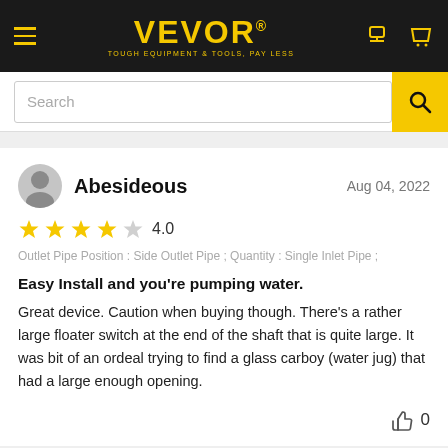VEVOR® TOUGH EQUIPMENT & TOOLS, PAY LESS
[Figure (screenshot): Search bar with yellow search button]
Abesideous  Aug 04, 2022
★★★★☆ 4.0
Outlet Pipe Position : Side Outlet Pipe ; Quantity : Single Inlet Pipe ;
Easy Install and you're pumping water.
Great device. Caution when buying though. There's a rather large floater switch at the end of the shaft that is quite large. It was bit of an ordeal trying to find a glass carboy (water jug) that had a large enough opening.
👍 0